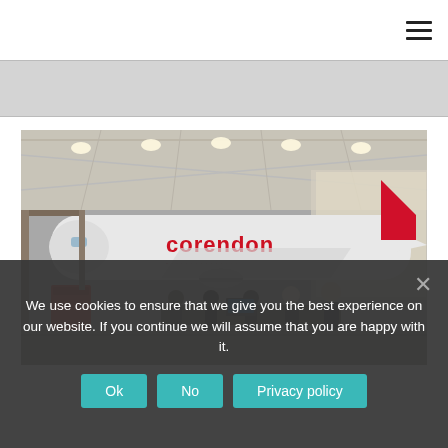[Figure (screenshot): Navigation bar with hamburger menu icon in top right corner]
[Figure (photo): Corendon Airlines aircraft in a maintenance hangar with workers gathered around a table in the foreground]
We use cookies to ensure that we give you the best experience on our website. If you continue we will assume that you are happy with it.
Ok
No
Privacy policy